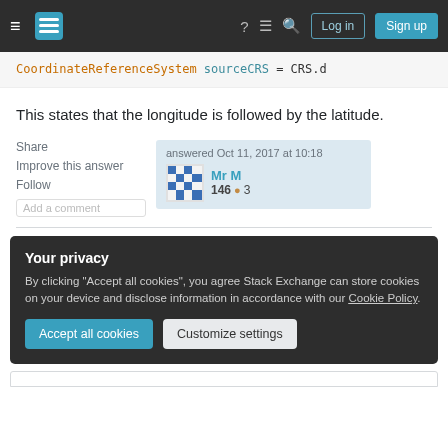Stack Exchange navigation bar with Log in and Sign up buttons
CoordinateReferenceSystem sourceCRS = CRS.d
This states that the longitude is followed by the latitude.
Share
Improve this answer
Follow
Add a comment
answered Oct 11, 2017 at 10:18
Mr M
146 3
Your privacy
By clicking "Accept all cookies", you agree Stack Exchange can store cookies on your device and disclose information in accordance with our Cookie Policy.
Accept all cookies
Customize settings